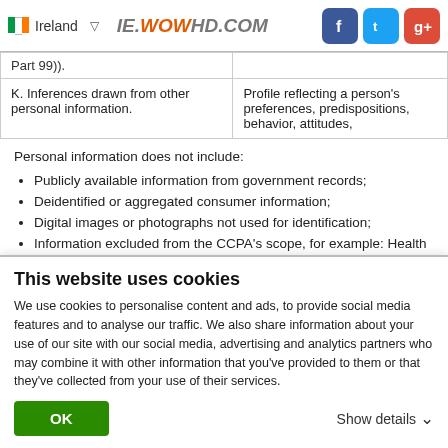Ireland | IE.WOWHD.COM | Facebook | Twitter | Google+
| Part 99)). |  |
| K. Inferences drawn from other personal information. | Profile reflecting a person's preferences, predispositions, behavior, attitudes, |
Personal information does not include:
Publicly available information from government records;
Deidentified or aggregated consumer information;
Digital images or photographs not used for identification;
Information excluded from the CCPA's scope, for example: Health Portability and Accountability Act of 1996 (HIPAA) and the California clinical trial data;
Personal information covered by certain sector-specific privacy laws, Gramm-Leach-Bliley Act (GLBA), the California Financial Information
This website uses cookies
We use cookies to personalise content and ads, to provide social media features and to analyse our traffic. We also share information about your use of our site with our social media, advertising and analytics partners who may combine it with other information that you've provided to them or that they've collected from your use of their services.
OK | Show details